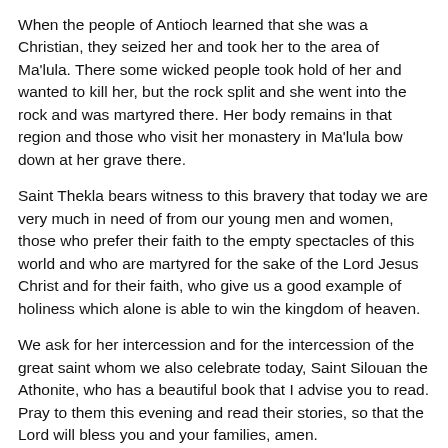When the people of Antioch learned that she was a Christian, they seized her and took her to the area of Ma'lula. There some wicked people took hold of her and wanted to kill her, but the rock split and she went into the rock and was martyred there. Her body remains in that region and those who visit her monastery in Ma'lula bow down at her grave there.
Saint Thekla bears witness to this bravery that today we are very much in need of from our young men and women, those who prefer their faith to the empty spectacles of this world and who are martyred for the sake of the Lord Jesus Christ and for their faith, who give us a good example of holiness which alone is able to win the kingdom of heaven.
We ask for her intercession and for the intercession of the great saint whom we also celebrate today, Saint Silouan the Athonite, who has a beautiful book that I advise you to read. Pray to them this evening and read their stories, so that the Lord will bless you and your families, amen.
This sermon was given on the Feast of St. Thekla, September 24, 2011 in Kfarserun. The Arabic original can be